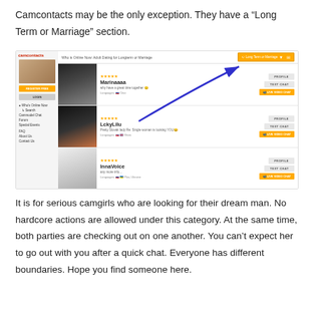Camcontacts may be the only exception. They have a “Long Term or Marriage” section.
[Figure (screenshot): Screenshot of Camcontacts website showing the 'Long Term or Marriage' section with user profiles (Marinaaaa, LckyLilu, InnaVoice) and a blue arrow pointing to the 'Long Term or Marriage' dropdown button.]
It is for serious camgirls who are looking for their dream man. No hardcore actions are allowed under this category. At the same time, both parties are checking out on one another. You can’t expect her to go out with you after a quick chat. Everyone has different boundaries. Hope you find someone here.